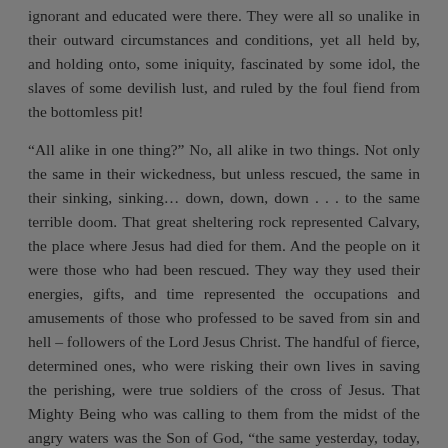ignorant and educated were there. They were all so unalike in their outward circumstances and conditions, yet all held by, and holding onto, some iniquity, fascinated by some idol, the slaves of some devilish lust, and ruled by the foul fiend from the bottomless pit!
“All alike in one thing?” No, all alike in two things. Not only the same in their wickedness, but unless rescued, the same in their sinking, sinking… down, down, down . . . to the same terrible doom. That great sheltering rock represented Calvary, the place where Jesus had died for them. And the people on it were those who had been rescued. They way they used their energies, gifts, and time represented the occupations and amusements of those who professed to be saved from sin and hell – followers of the Lord Jesus Christ. The handful of fierce, determined ones, who were risking their own lives in saving the perishing, were true soldiers of the cross of Jesus. That Mighty Being who was calling to them from the midst of the angry waters was the Son of God, “the same yesterday, today, and forever”, who is still struggling and interceding to save the dying multitudes about us from this terrible doom of damnation, and whose voice can be heard above the music, machinery, and noise of life, calling on the rescued to come and help Him save the world.